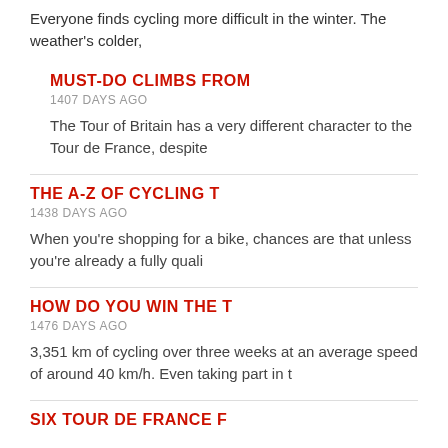Everyone finds cycling more difficult in the winter. The weather's colder,
MUST-DO CLIMBS FROM
1407 DAYS AGO
The Tour of Britain has a very different character to the Tour de France, despite
THE A-Z OF CYCLING T
1438 DAYS AGO
When you're shopping for a bike, chances are that unless you're already a fully quali
HOW DO YOU WIN THE T
1476 DAYS AGO
3,351 km of cycling over three weeks at an average speed of around 40 km/h. Even taking part in t
SIX TOUR DE FRANCE F